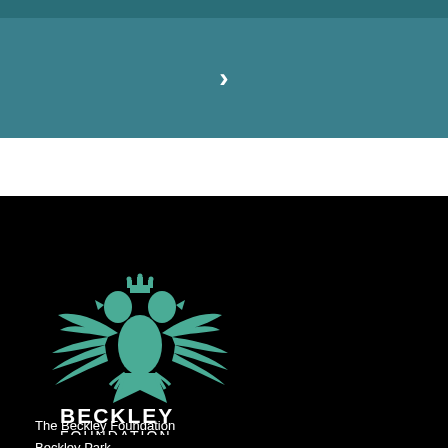[Figure (other): Teal header band with a right-pointing chevron arrow in white]
[Figure (logo): Beckley Foundation logo: a teal double-headed eagle heraldic design with a crown, above the text BECKLEY FOUNDATION in white on black background]
The Beckley Foundation
Beckley Park
Oxford, OX3 9SY
United Kingdom